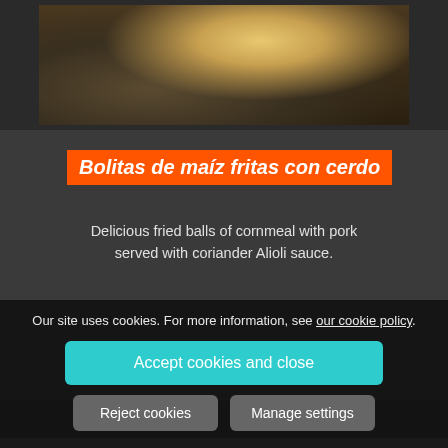[Figure (photo): Close-up food photo showing fried cornmeal balls with sprouts/microgreens on a dark plate]
Bolitas de maíz fritas con cerdo
Delicious fried balls of cornmeal with pork served with coriander Alioli sauce.
Our site uses cookies. For more information, see our cookie policy.
Accept cookies and close
Reject cookies
Manage settings